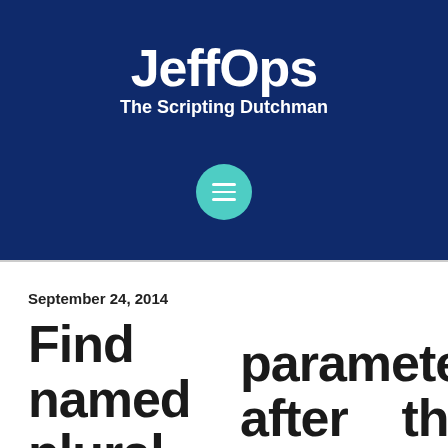JeffOps
The Scripting Dutchman
[Figure (other): Teal circular menu button with three horizontal white lines (hamburger icon)]
September 24, 2014
Find named plural parameters after the